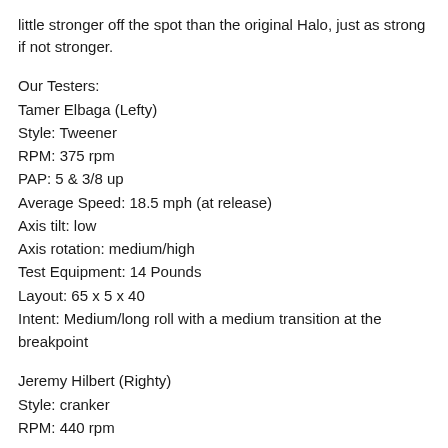little stronger off the spot than the original Halo, just as strong if not stronger.
Our Testers:
Tamer Elbaga (Lefty)
Style: Tweener
RPM: 375 rpm
PAP: 5 & 3/8 up
Average Speed: 18.5 mph (at release)
Axis tilt: low
Axis rotation: medium/high
Test Equipment: 14 Pounds
Layout: 65 x 5 x 40
Intent: Medium/long roll with a medium transition at the breakpoint
Jeremy Hilbert (Righty)
Style: cranker
RPM: 440 rpm